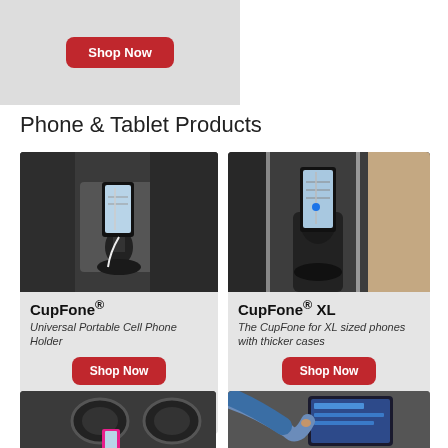[Figure (photo): Top banner with gray background and Shop Now red button]
Phone & Tablet Products
[Figure (photo): CupFone product photo showing phone holder in car cup holder with map on screen]
CupFone® Universal Portable Cell Phone Holder
[Figure (photo): CupFone XL product photo showing larger phone in cup holder with map on screen]
CupFone® XL The CupFone for XL sized phones with thicker cases
[Figure (photo): Bottom left partial product photo showing phone holder mounted on dashboard]
[Figure (photo): Bottom right partial product photo showing person touching car infotainment screen]